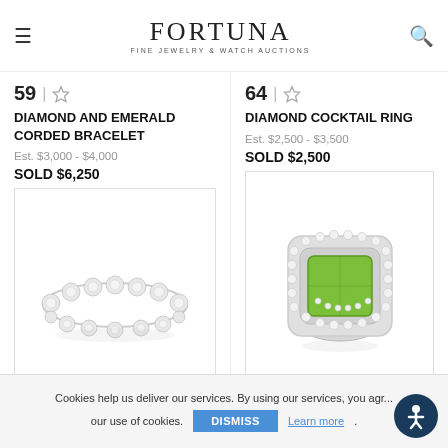FORTUNA Fine Jewelry & Watch Auctions
59 | ☆
DIAMOND AND EMERALD CORDED BRACELET
Est. $3,000 - $4,000
SOLD $6,250
64 | ☆
DIAMOND COCKTAIL RING
Est. $2,500 - $3,500
SOLD $2,500
[Figure (photo): Photo of a diamond and emerald eternity bracelet, white gold with round diamonds, top-down view on white background]
[Figure (photo): Photo of a diamond cocktail ring with large green peridot/tourmaline cushion-cut center stone surrounded by double halo of diamonds, on white background]
Cookies help us deliver our services. By using our services, you agr... our use of cookies. DISMISS Learn more.